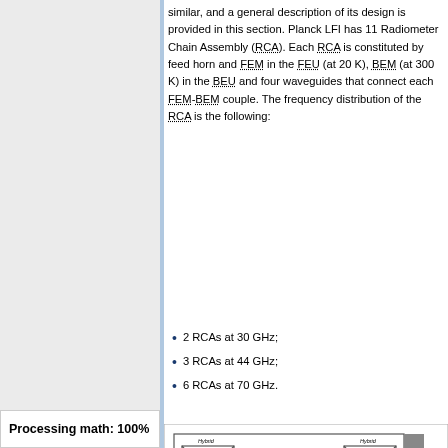similar, and a general description of its design is provided in this section. Planck LFI has 11 Radiometer Chain Assembly (RCA). Each RCA is constituted by feed horn and FEM in the FEU (at 20 K), BEM (at 300 K) in the BEU and four waveguides that connect each FEM-BEM couple. The frequency distribution of the RCA is the following:
2 RCAs at 30 GHz;
3 RCAs at 44 GHz;
6 RCAs at 70 GHz.
[Figure (engineering-diagram): Schematic diagram of the Planck LFI Radiometer Chain Assembly showing Hybrid couplers, LNAs, Phase Switches (phi1, phi2), Feed-horn, OMT, and temperature stages (4K, 20K). Labels include 'Hybrid', 'LNAs', 'Phase Switches', 'Feed-horn', 'OMT', 'OMT main arm', '20 K', '4 K'.]
Processing math: 100%